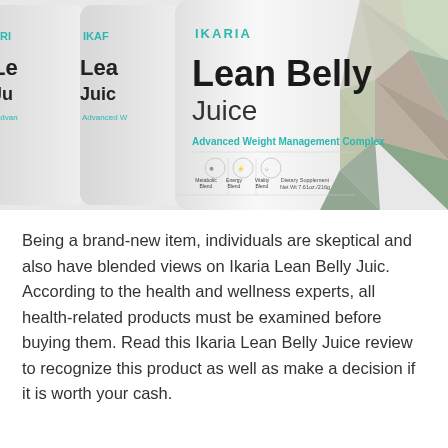[Figure (photo): Multiple white cylindrical containers of Ikaria Lean Belly Juice supplement arranged side by side. The front container shows 'IKARIA' in teal, 'Lean Belly Juice' in bold black, 'Advanced Weight Management Complex' in teal, with blend icons (Metabolic Blend, Energy Blend, Vitality Blend) and 'Dietary Supplement Net Wt 7.61oz./216g'. Behind the cans on the right are decorative triangular mosaic images of fruits and ingredients.]
Being a brand-new item, individuals are skeptical and also have blended views on Ikaria Lean Belly Juic. According to the health and wellness experts, all health-related products must be examined before buying them. Read this Ikaria Lean Belly Juice review to recognize this product as well as make a decision if it is worth your cash.